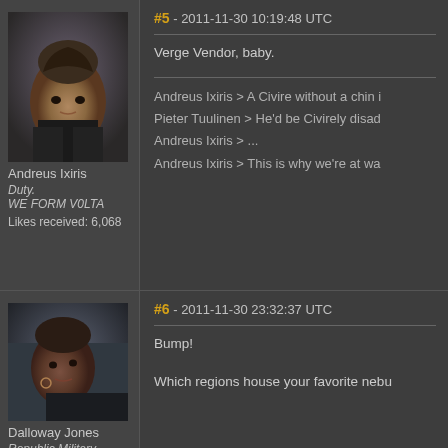[Figure (photo): Avatar portrait of Andreus Ixiris, male character with dark hair and serious expression]
Andreus Ixiris
Duty.
WE FORM V0LTA
Likes received: 6,068
#5 - 2011-11-30 10:19:48 UTC
Verge Vendor, baby.
Andreus Ixiris > A Civire without a chin i
Pieter Tuulinen > He'd be Civirely disad
Andreus Ixiris > ...
Andreus Ixiris > This is why we're at wa
[Figure (photo): Avatar portrait of Dalloway Jones, female character with shaved head]
Dalloway Jones
Republic Military School
#6 - 2011-11-30 23:32:37 UTC
Bump!
Which regions house your favorite nebu